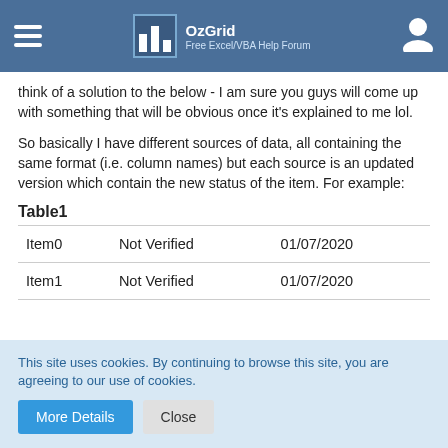OzGrid Free Excel/VBA Help Forum
think of a solution to the below - I am sure you guys will come up with something that will be obvious once it's explained to me lol.
So basically I have different sources of data, all containing the same format (i.e. column names) but each source is an updated version which contain the new status of the item. For example:
Table1
| Item0 | Not Verified | 01/07/2020 |
| Item1 | Not Verified | 01/07/2020 |
This site uses cookies. By continuing to browse this site, you are agreeing to our use of cookies.